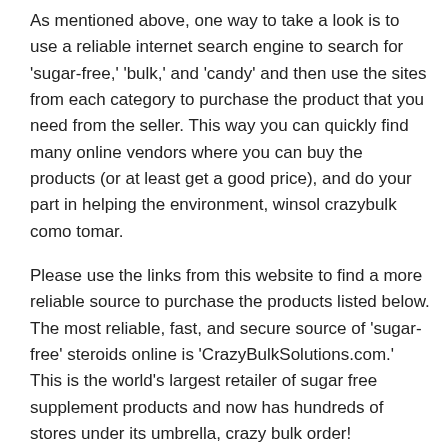As mentioned above, one way to take a look is to use a reliable internet search engine to search for 'sugar-free,' 'bulk,' and 'candy' and then use the sites from each category to purchase the product that you need from the seller. This way you can quickly find many online vendors where you can buy the products (or at least get a good price), and do your part in helping the environment, winsol crazybulk como tomar.
Please use the links from this website to find a more reliable source to purchase the products listed below. The most reliable, fast, and secure source of 'sugar-free' steroids online is 'CrazyBulkSolutions.com.' This is the world's largest retailer of sugar free supplement products and now has hundreds of stores under its umbrella, crazy bulk order!
Crazybulk indonesia